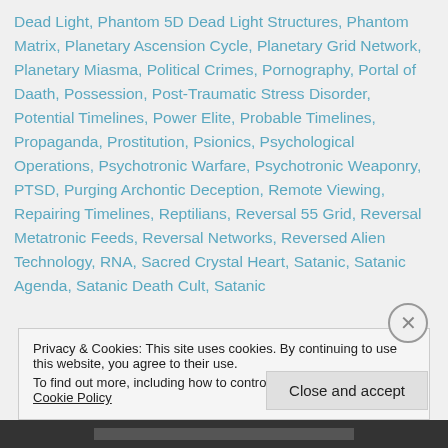Dead Light, Phantom 5D Dead Light Structures, Phantom Matrix, Planetary Ascension Cycle, Planetary Grid Network, Planetary Miasma, Political Crimes, Pornography, Portal of Daath, Possession, Post-Traumatic Stress Disorder, Potential Timelines, Power Elite, Probable Timelines, Propaganda, Prostitution, Psionics, Psychological Operations, Psychotronic Warfare, Psychotronic Weaponry, PTSD, Purging Archontic Deception, Remote Viewing, Repairing Timelines, Reptilians, Reversal 55 Grid, Reversal Metatronic Feeds, Reversal Networks, Reversed Alien Technology, RNA, Sacred Crystal Heart, Satanic, Satanic Agenda, Satanic Death Cult, Satanic Ritual Abuse, Satanic Rituals, Satanism, Secret Societies...
Privacy & Cookies: This site uses cookies. By continuing to use this website, you agree to their use.
To find out more, including how to control cookies, see here: Cookie Policy